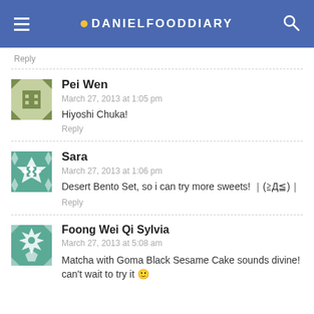DANIELFOODDIARY
Reply
Pei Wen
March 27, 2013 at 1:05 pm
Hiyoshi Chuka!
Reply
Sara
March 27, 2013 at 1:06 pm
Desert Bento Set, so i can try more sweets! ｜(≧Д≦)｜
Reply
Foong Wei Qi Sylvia
March 27, 2013 at 5:08 am
Matcha with Goma Black Sesame Cake sounds divine! can't wait to try it 🙂